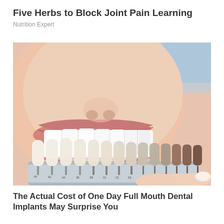Five Herbs to Block Joint Pain Learning
Nutrition Expert
[Figure (photo): Close-up photo of a woman smiling with white teeth, holding a dental shade guide (tooth color matching tool) up to her mouth. The shade guide shows multiple tooth-shaped color samples ranging from white to darker shades, mounted on a grey plastic holder.]
The Actual Cost of One Day Full Mouth Dental Implants May Surprise You